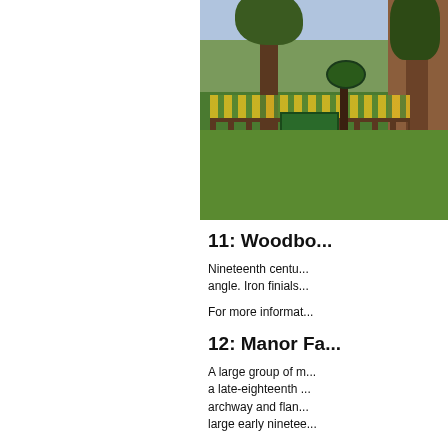[Figure (photo): Outdoor garden/park scene with grass lawn, trees, an information board, fence, and a brick wall in the background. Daffodils/yellow flowers in mid-ground.]
11: Woodbo...
Nineteenth centu... angle. Iron finials...
For more informat...
12: Manor Fa...
A large group of m... a late-eighteenth ... archway and flan... large early ninetee...